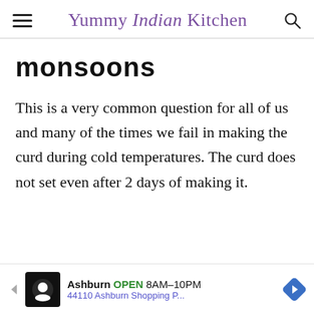Yummy Indian Kitchen
monsoons
This is a very common question for all of us and many of the times we fail in making the curd during cold temperatures. The curd does not set even after 2 days of making it.
[Figure (infographic): Advertisement banner: Ashburn OPEN 8AM-10PM, 44110 Ashburn Shopping P...]